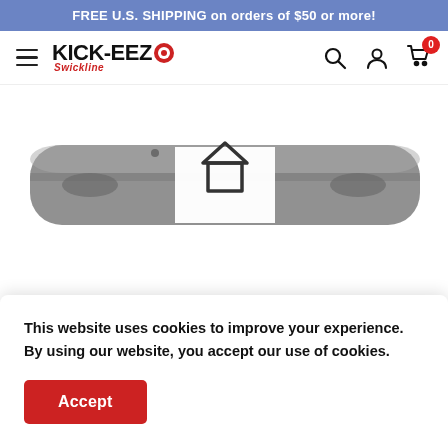FREE U.S. SHIPPING on orders of $50 or more!
[Figure (logo): KICK-EEZ logo with red target/bullseye icon and red italic 'Swickline' subtitle text]
[Figure (photo): Close-up photo of a grey shoe sole/insole product with a house-shaped icon overlay in the center]
This website uses cookies to improve your experience. By using our website, you accept our use of cookies.
Accept